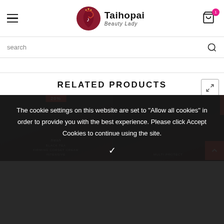[Figure (logo): Taihopai Beauty Lady logo with circular red icon and text]
search
RELATED PRODUCTS
The cookie settings on this website are set to "Allow all cookies" in order to provide you with the best experience. Please click Accept Cookies to continue using the site.
ADD TO CART